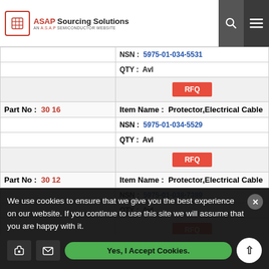ASAP Sourcing Solutions - AN A.S.A.P SEMICONDUCTOR WEBSITE
| Part No | Item Name / NSN / QTY / RFQ |
| --- | --- |
| 30 16 | Item Name: Protector,Electrical Cable | NSN: 5975-01-034-5529 | QTY: Avl |
| 30 12 | Item Name: Protector,Electrical Cable | NSN: 5975-01-038-7389 | QTY: Avl |
| 3-2063-2 | Item Name: Gasket |
We use cookies to ensure that we give you the best experience on our website. If you continue to use this site we will assume that you are happy with it.